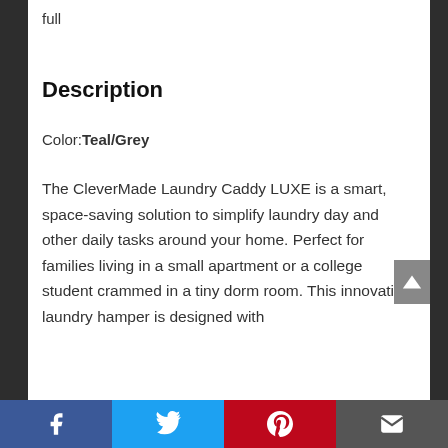full
Description
Color: Teal/Grey
The CleverMade Laundry Caddy LUXE is a smart, space-saving solution to simplify laundry day and other daily tasks around your home. Perfect for families living in a small apartment or a college student crammed in a tiny dorm room. This innovative laundry hamper is designed with